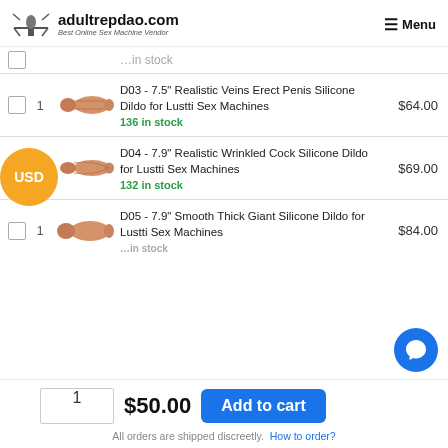adultrepdao.com — Best Online Sex Machine Vendor
D03 - 7.5" Realistic Veins Erect Penis Silicone Dildo for Lustti Sex Machines — 136 in stock — $64.00
D04 - 7.9" Realistic Wrinkled Cock Silicone Dildo for Lustti Sex Machines — 132 in stock — $69.00
D05 - 7.9" Smooth Thick Giant Silicone Dildo for Lustti Sex Machines — $84.00
1  $50.00  Add to cart
All orders are shipped discreetly. How to order?